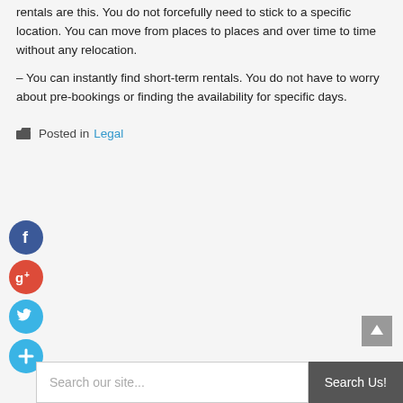rentals are this. You do not forcefully need to stick to a specific location. You can move from places to places and over time to time without any relocation.
– You can instantly find short-term rentals. You do not have to worry about pre-bookings or finding the availability for specific days.
Posted in Legal
[Figure (infographic): Social media sharing icons: Facebook (blue circle with f), Google+ (red circle with g+), Twitter (blue circle with bird), and a blue plus circle]
[Figure (other): Scroll to top button - grey square with upward arrow]
Search our site...  Search Us!